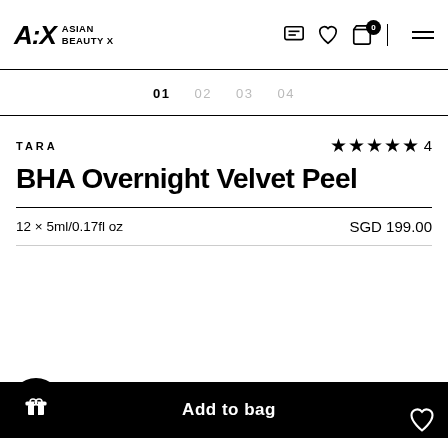A:X ASIAN BEAUTY X
01  02  03  04
TARA
★★★★★ 4
BHA Overnight Velvet Peel
12 × 5ml/0.17fl oz
SGD 199.00
Add to bag